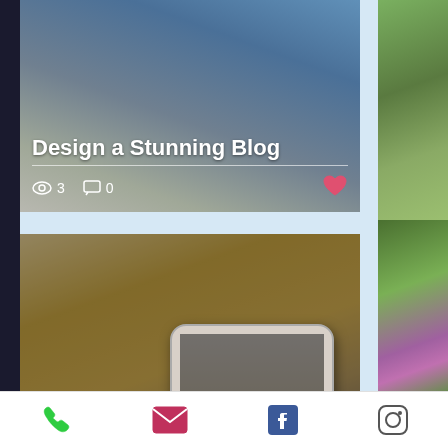Design a Stunning Blog
👁 3   💬 0
[Figure (photo): Blog card with photo background showing 'Blog on the Go' post by Tracie Soper, Apr 4 2018, 1 min read; hand holding phone photographing food]
Tracie Soper · Apr 4, 2018 · 1 min
Blog on the Go
👁 0   💬 0
📞  ✉  f  ◎